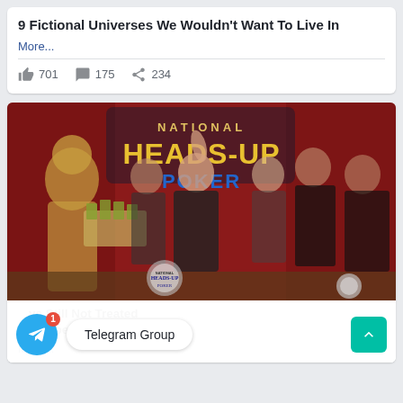9 Fictional Universes We Wouldn't Want To Live In
More...
👍 701  💬 175  ➤ 234
[Figure (photo): Group photo at National Heads-Up Poker Championship event. A woman in the center raises her fist in victory while a man in Roman gladiator costume holds a tray of cash. Several people stand around them in front of a large National Heads-Up Poker sign with red background.]
Telegram Group  ys Still Not Treated
In Respect
More...